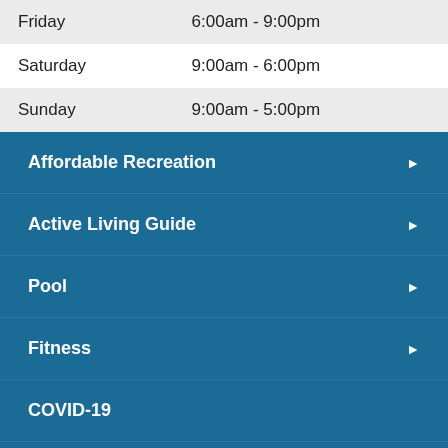| Day | Hours |
| --- | --- |
| Friday | 6:00am - 9:00pm |
| Saturday | 9:00am - 6:00pm |
| Sunday | 9:00am - 5:00pm |
Affordable Recreation ▶
Active Living Guide ▶
Pool ▶
Fitness ▶
COVID-19
Rinks